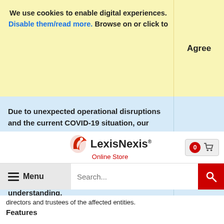We use cookies to enable digital experiences. Disable them/read more. Browse on or click to
Agree
Due to unexpected operational disruptions and the current COVID-19 situation, our warehouse is facing delays in shipping out orders. We are doing our best to resolve the issues and deliver all orders on time. We apologise for any inconvenience this may cause and thank you for your patience and understanding.
Dismiss
[Figure (logo): LexisNexis Online Store logo with red bird icon]
0
Menu
Search...
directors and trustees of the affected entities.
Features